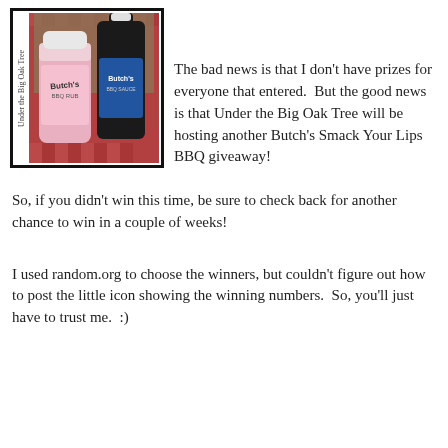[Figure (photo): Photo of two Butch's Smack Your Lips BBQ products — a pink jar of rub and a dark bottle of BBQ sauce — on a red checkered tablecloth. The image has a black border frame with 'Under the Big Oak Tree' text rotated vertically on the left side.]
The bad news is that I don't have prizes for everyone that entered.  But the good news is that Under the Big Oak Tree will be hosting another Butch's Smack Your Lips BBQ giveaway!
So, if you didn't win this time, be sure to check back for another chance to win in a couple of weeks!
I used random.org to choose the winners, but couldn't figure out how to post the little icon showing the winning numbers.  So, you'll just have to trust me.  :)